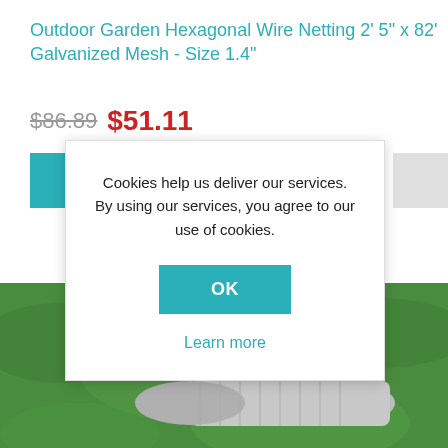Outdoor Garden Hexagonal Wire Netting 2' 5" x 82' Galvanized Mesh - Size 1.4"
$86.89  $51.11
[Figure (screenshot): Cookie consent modal dialog with text 'Cookies help us deliver our services. By using our services, you agree to our use of cookies.' and an OK button and Learn more link]
[Figure (photo): Roll of hexagonal wire mesh netting on green grass lawn background]